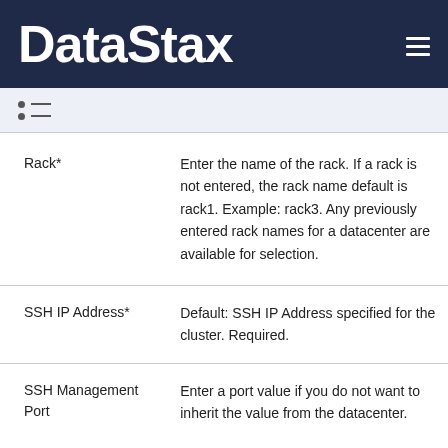DataStax
| Field | Description |
| --- | --- |
| Rack* | Enter the name of the rack. If a rack is not entered, the rack name default is rack1. Example: rack3. Any previously entered rack names for a datacenter are available for selection. |
| SSH IP Address* | Default: SSH IP Address specified for the cluster. Required. |
| SSH Management Port | Enter a port value if you do not want to inherit the value from the datacenter. |